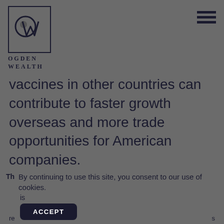[Figure (logo): Ogden Wealth logo: stylized OW letters inside a square border, with text OGDEN WEALTH below]
vaccines in other countries can contribute to faster growth overseas and more trade opportunities for American companies.
By continuing to use this site, you consent to our use of cookies.